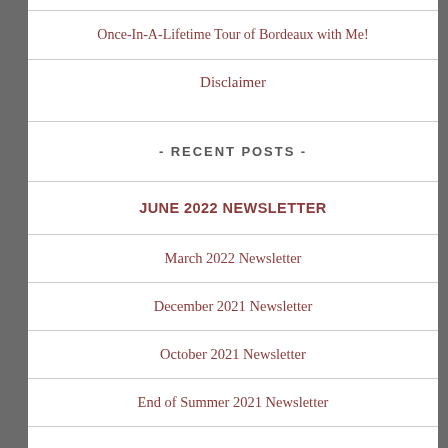Once-In-A-Lifetime Tour of Bordeaux with Me!
Disclaimer
- RECENT POSTS -
JUNE 2022 NEWSLETTER
March 2022 Newsletter
December 2021 Newsletter
October 2021 Newsletter
End of Summer 2021 Newsletter